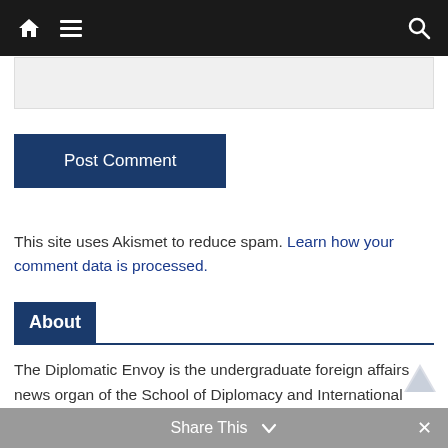Navigation bar with home, menu, and search icons
[Figure (screenshot): Comment input text box area, light gray background]
Post Comment
This site uses Akismet to reduce spam. Learn how your comment data is processed.
About
The Diplomatic Envoy is the undergraduate foreign affairs news organ of the School of Diplomacy and International Relations at Seton Hall University.
Share This